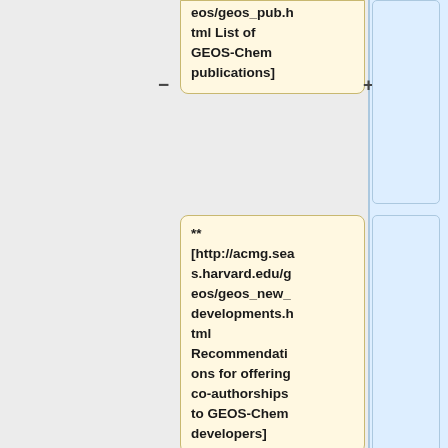** [http://acmg.seas.harvard.edu/geos/geos_pub.html List of GEOS-Chem publications]
** [http://acmg.seas.harvard.edu/geos/geos_new_developments.html Recommendations for offering co-authorships to GEOS-Chem developers]
** [http://acmg.seas.harvard.edu/geos/geos_search.html GEOS-Chem Search